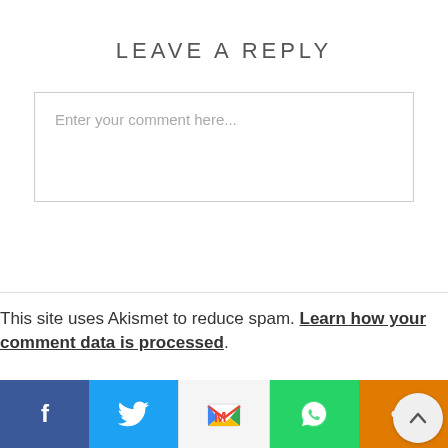LEAVE A REPLY
[Figure (screenshot): Comment text input box with placeholder text 'Enter your comment here...']
This site uses Akismet to reduce spam. Learn how your comment data is processed.
[Figure (infographic): Social share bar with Facebook, Twitter, Gmail, WhatsApp, and generic share buttons, plus a back-to-top arrow button]